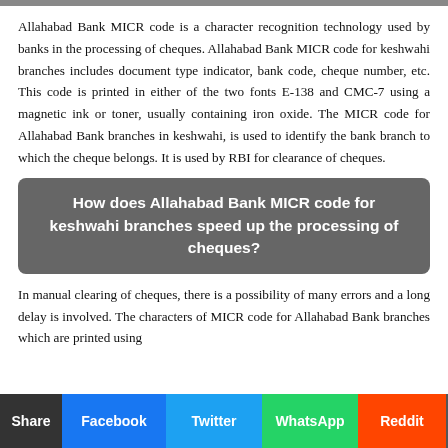Allahabad Bank MICR code is a character recognition technology used by banks in the processing of cheques. Allahabad Bank MICR code for keshwahi branches includes document type indicator, bank code, cheque number, etc. This code is printed in either of the two fonts E-138 and CMC-7 using a magnetic ink or toner, usually containing iron oxide. The MICR code for Allahabad Bank branches in keshwahi, is used to identify the bank branch to which the cheque belongs. It is used by RBI for clearance of cheques.
How does Allahabad Bank MICR code for keshwahi branches speed up the processing of cheques?
In manual clearing of cheques, there is a possibility of many errors and a long delay is involved. The characters of MICR code for Allahabad Bank branches which are printed using...